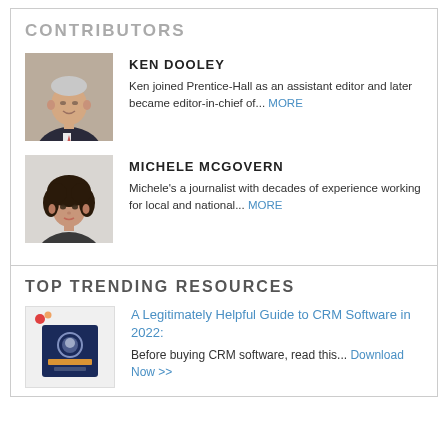CONTRIBUTORS
KEN DOOLEY
[Figure (photo): Headshot of Ken Dooley, an older man in a suit]
Ken joined Prentice-Hall as an assistant editor and later became editor-in-chief of... MORE
MICHELE MCGOVERN
[Figure (photo): Headshot of Michele McGovern, a woman with curly hair]
Michele's a journalist with decades of experience working for local and national... MORE
TOP TRENDING RESOURCES
[Figure (illustration): Thumbnail of CRM Software Buyer's Guide booklet cover]
A Legitimately Helpful Guide to CRM Software in 2022:
Before buying CRM software, read this... Download Now >>